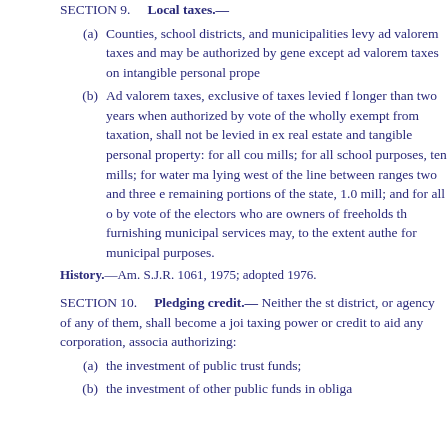SECTION 9.    Local taxes.—
(a)    Counties, school districts, and municipalities levy ad valorem taxes and may be authorized by gene except ad valorem taxes on intangible personal prope
(b)    Ad valorem taxes, exclusive of taxes levied f longer than two years when authorized by vote of the wholly exempt from taxation, shall not be levied in ex real estate and tangible personal property: for all cou mills; for all school purposes, ten mills; for water ma lying west of the line between ranges two and three e remaining portions of the state, 1.0 mill; and for all o by vote of the electors who are owners of freeholds th furnishing municipal services may, to the extent authe for municipal purposes.
History.—Am. S.J.R. 1061, 1975; adopted 1976.
SECTION 10.    Pledging credit.— Neither the st district, or agency of any of them, shall become a joi taxing power or credit to aid any corporation, associa authorizing:
(a)    the investment of public trust funds;
(b)    the investment of other public funds in obliga